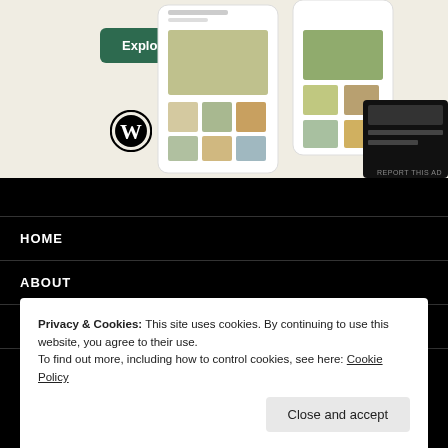[Figure (screenshot): Advertisement section with beige background showing 'Explore options' green button, WordPress logo, a small icon, and phone mockup showing food/recipe app screens]
REPORT THIS AD
HOME
ABOUT
PROFILE
Privacy & Cookies: This site uses cookies. By continuing to use this website, you agree to their use. To find out more, including how to control cookies, see here: Cookie Policy
Close and accept